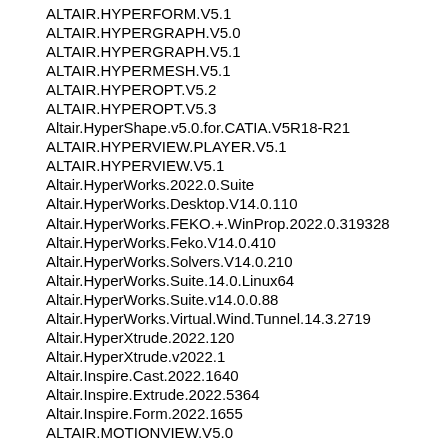ALTAIR.HYPERFORM.V5.1
ALTAIR.HYPERGRAPH.V5.0
ALTAIR.HYPERGRAPH.V5.1
ALTAIR.HYPERMESH.V5.1
ALTAIR.HYPEROPT.V5.2
ALTAIR.HYPEROPT.V5.3
Altair.HyperShape.v5.0.for.CATIA.V5R18-R21
ALTAIR.HYPERVIEW.PLAYER.V5.1
ALTAIR.HYPERVIEW.V5.1
Altair.HyperWorks.2022.0.Suite
Altair.HyperWorks.Desktop.V14.0.110
Altair.HyperWorks.FEKO.+.WinProp.2022.0.319328
Altair.HyperWorks.Feko.V14.0.410
Altair.HyperWorks.Solvers.V14.0.210
Altair.HyperWorks.Suite.14.0.Linux64
Altair.HyperWorks.Suite.v14.0.0.88
Altair.HyperWorks.Virtual.Wind.Tunnel.14.3.2719
Altair.HyperXtrude.2022.120
Altair.HyperXtrude.v2022.1
Altair.Inspire.Cast.2022.1640
Altair.Inspire.Extrude.2022.5364
Altair.Inspire.Form.2022.1655
ALTAIR.MOTIONVIEW.V5.0